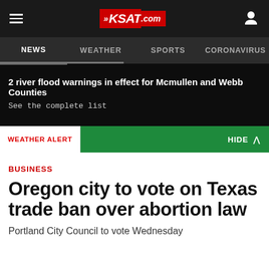KSAT.com
NEWS  WEATHER  SPORTS  CORONAVIRUS
2 river flood warnings in effect for Mcmullen and Webb Counties
See the complete list
WEATHER ALERT  HIDE
BUSINESS
Oregon city to vote on Texas trade ban over abortion law
Portland City Council to vote Wednesday